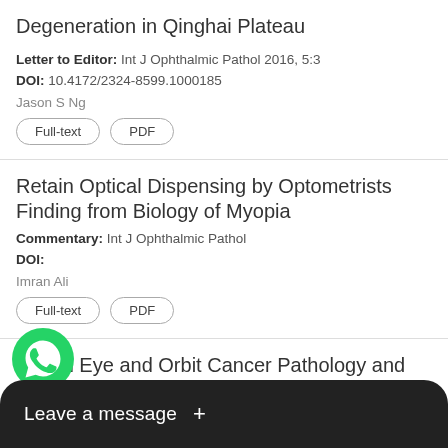Degeneration in Qinghai Plateau
Letter to Editor: Int J Ophthalmic Pathol 2016, 5:3
DOI: 10.4172/2324-8599.1000185
Jason S Ng
Full-text  PDF
Retain Optical Dispensing by Optometrists Finding from Biology of Myopia
Commentary: Int J Ophthalmic Pathol
DOI:
Imran Ali
Full-text  PDF
Retain Eye and Orbit Cancer Pathology and Genetics
Commentary: Int J Ophthalmic Pathol
[Figure (screenshot): WhatsApp chat widget overlay with green WhatsApp icon and dark rounded bar with 'Leave a message +' text]